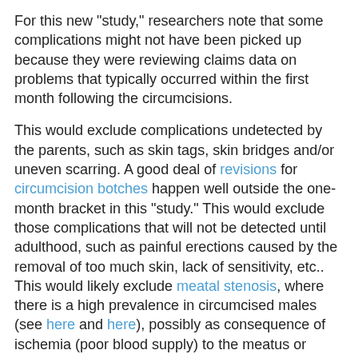For this new "study," researchers note that some complications might not have been picked up because they were reviewing claims data on problems that typically occurred within the first month following the circumcisions.
This would exclude complications undetected by the parents, such as skin tags, skin bridges and/or uneven scarring. A good deal of revisions for circumcision botches happen well outside the one-month bracket in this "study." This would exclude those complications that will not be detected until adulthood, such as painful erections caused by the removal of too much skin, lack of sensitivity, etc.. This would likely exclude meatal stenosis, where there is a high prevalence in circumcised males (see here and here), possibly as consequence of ischemia (poor blood supply) to the meatus or permanent irritation of the meatus caused by friction with the diaper and resulting in scarring.
OK, So What Are the Risks?
Let's accept the claim that "the risks of circumcision are low in infancy and increase with age." Just what are the risks? And are they conscionable given that this is elective surgery